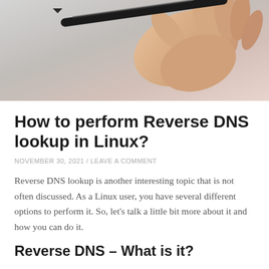[Figure (photo): A hand holding a black marker pen, writing on a white surface, with a light gray gradient background]
How to perform Reverse DNS lookup in Linux?
NOVEMBER 30, 2021 / LEAVE A COMMENT
Reverse DNS lookup is another interesting topic that is not often discussed. As a Linux user, you have several different options to perform it. So, let's talk a little bit more about it and how you can do it.
Reverse DNS – What is it?